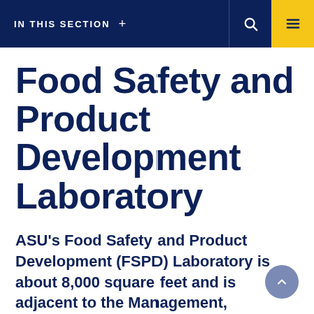IN THIS SECTION +
Food Safety and Product Development Laboratory
ASU's Food Safety and Product Development (FSPD) Laboratory is about 8,000 square feet and is adjacent to the Management, Instruction and Research (MIR)